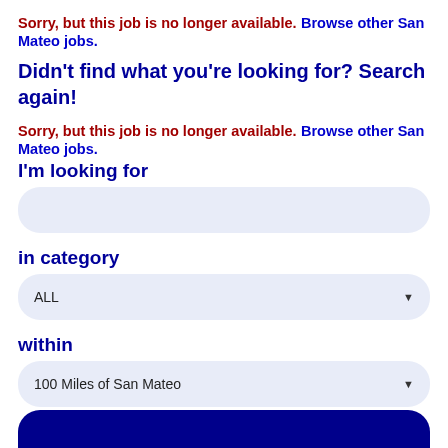Sorry, but this job is no longer available. Browse other San Mateo jobs.
Didn't find what you're looking for? Search again!
Sorry, but this job is no longer available. Browse other San Mateo jobs.
I'm looking for
in category
ALL
within
100 Miles of San Mateo